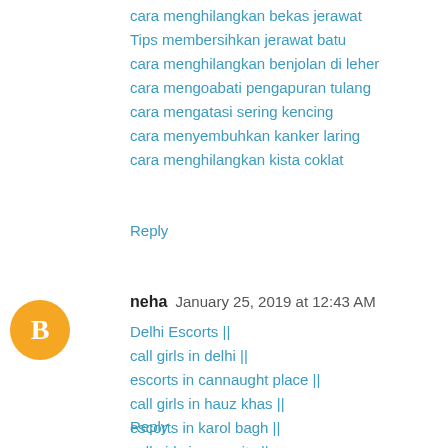cara menghilangkan bekas jerawat
Tips membersihkan jerawat batu
cara menghilangkan benjolan di leher
cara mengoabati pengapuran tulang
cara mengatasi sering kencing
cara menyembuhkan kanker laring
cara menghilangkan kista coklat
Reply
neha  January 25, 2019 at 12:43 AM
Delhi Escorts ||
call girls in delhi ||
escorts in cannaught place ||
call girls in hauz khas ||
escorts in karol bagh ||
call girls in aerocity ||
call girl gurgaon ||
escorts in service noida ||
Reply